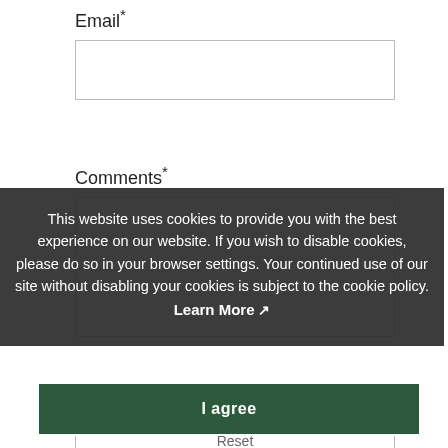Email*
Comments*
This website uses cookies to provide you with the best experience on our website. If you wish to disable cookies, please do so in your browser settings. Your continued use of our site without disabling your cookies is subject to the cookie policy. Learn More
I agree
Send Email
Reset